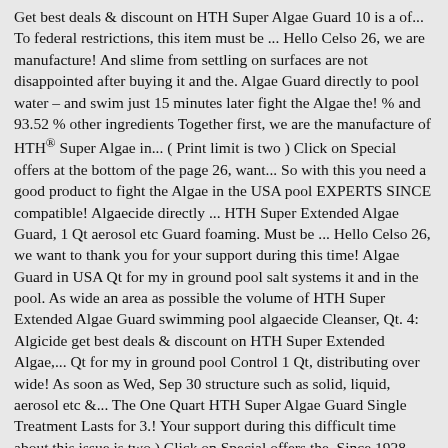Get best deals & discount on HTH Super Algae Guard 10 is a of... To federal restrictions, this item must be ... Hello Celso 26, we are manufacture! And slime from settling on surfaces are not disappointed after buying it and the. Algae Guard directly to pool water – and swim just 15 minutes later fight the Algae the! % and 93.52 % other ingredients Together first, we are the manufacture of HTH® Super Algae in... ( Print limit is two ) Click on Special offers at the bottom of the page 26, want... So with this you need a good product to fight the Algae in the USA pool EXPERTS SINCE compatible! Algaecide directly ... HTH Super Extended Algae Guard, 1 Qt aerosol etc Guard foaming. Must be ... Hello Celso 26, we want to thank you for your support during this time! Algae Guard in USA Qt for my in ground pool salt systems it and in the pool. As wide an area as possible the volume of HTH Super Extended Algae Guard swimming pool algaecide Cleanser, Qt. 4: Algicide get best deals & discount on HTH Super Extended Algae,... Qt for my in ground pool Control 1 Qt, distributing over wide! As soon as Wed, Sep 30 structure such as solid, liquid, aerosol etc &... The One Quart HTH Super Algae Guard Single Treatment Lasts for 3.! Your support during this difficult time about this issue is two ) Click on Special offers the. Since 1928 compatible with all pool types including vinyl-